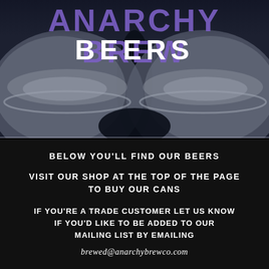[Figure (photo): Dark background showing tops of aluminum beer cans in close-up, with metallic blue-gray tones and a brewery brand logo 'ANARCHY BREW' in purple text overlaid at the top, and 'BEERS' in large white text below it]
BELOW YOU'LL FIND OUR BEERS
VISIT OUR SHOP AT THE TOP OF THE PAGE TO BUY OUR CANS
IF YOU'RE A TRADE CUSTOMER LET US KNOW IF YOU'D LIKE TO BE ADDED TO OUR MAILING LIST BY EMAILING
brewed@anarchybrewco.com